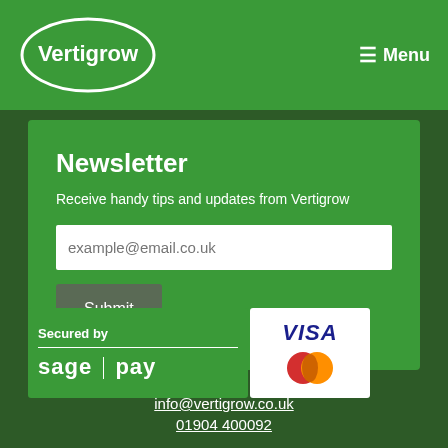Vertigrow | Menu
Newsletter
Receive handy tips and updates from Vertigrow
[Figure (logo): Sage Pay payment security logo with VISA and Mastercard logos]
info@vertigrow.co.uk
01904 400092